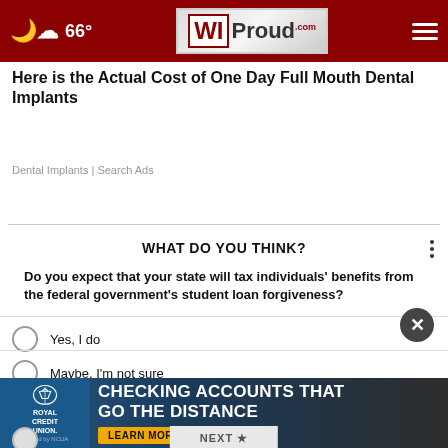66° WIProud.com
Here is the Actual Cost of One Day Full Mouth Dental Implants
Dental Implants | Search Ads
WHAT DO YOU THINK?
Do you expect that your state will tax individuals' benefits from the federal government's student loan forgiveness?
Yes, I do
Maybe, I'm not sure
No, I don't
[Figure (infographic): Royal Credit Union advertisement banner: Checking Accounts That Go The Distance - Learn More]